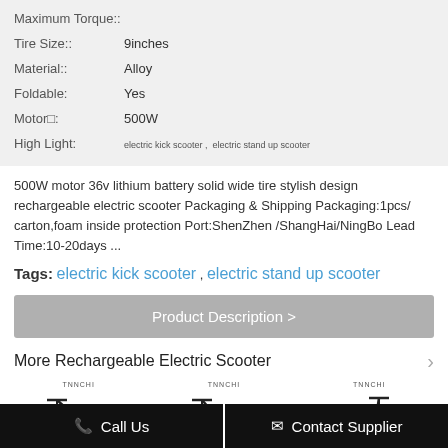| Property | Value |
| --- | --- |
| Maximum Torque:: |  |
| Tire Size:: | 9inches |
| Material:: | Alloy |
| Foldable: | Yes |
| Motor□: | 500W |
| High Light: | electric kick scooter ,  electric stand up scooter |
500W motor 36v lithium battery solid wide tire stylish design rechargeable electric scooter Packaging & Shipping Packaging:1pcs/ carton,foam inside protection Port:ShenZhen /ShangHai/NingBo Lead Time:10-20days ...
Tags: electric kick scooter , electric stand up scooter
Product Description >
More Rechargeable Electric Scooter
[Figure (photo): Three electric scooters shown side by side with TNNCHI brand labels]
Call Us
Contact Supplier